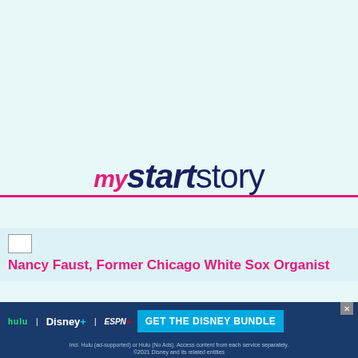[Figure (logo): mystartstory logo with 'my' in pink italic, 'start' in dark navy bold italic, 'story' in dark navy regular, with a pink underline beneath]
Nancy Faust, Former Chicago White Sox Organist
[Figure (photo): Partial portrait photo of a person, mostly obscured]
Cania Eubanks, Truck
She
[Figure (screenshot): Disney Bundle advertisement banner with Hulu, Disney+, ESPN+ logos and GET THE DISNEY BUNDLE call to action button. Fine print: Incl. Hulu (ad-supported) or Hulu (No Ads). Access content from each service separately. ©2021 Disney and its related entities]